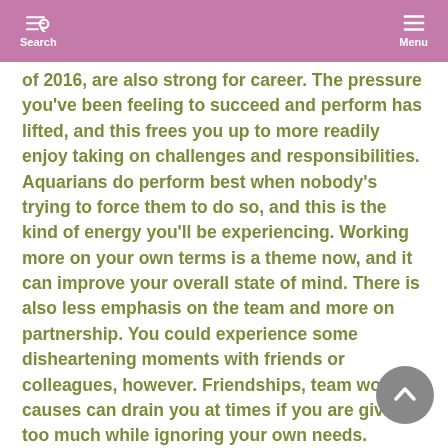Search  Menu
of 2016, are also strong for career. The pressure you've been feeling to succeed and perform has lifted, and this frees you up to more readily enjoy taking on challenges and responsibilities. Aquarians do perform best when nobody's trying to force them to do so, and this is the kind of energy you'll be experiencing. Working more on your own terms is a theme now, and it can improve your overall state of mind. There is also less emphasis on the team and more on partnership. You could experience some disheartening moments with friends or colleagues, however. Friendships, team work, or causes can drain you at times if you are giving too much while ignoring your own needs. Ultimately, though, you're moving towards discovering lasting, true friendships